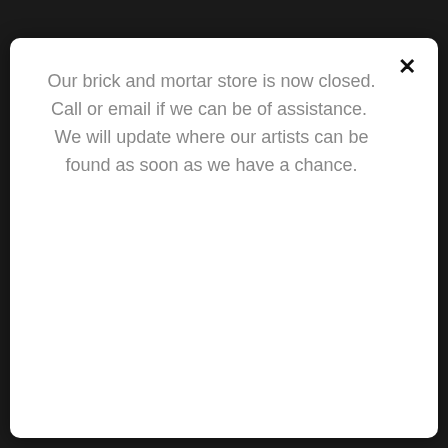Our brick and mortar store is now closed. Call or email if we can be of assistance.  We will update where our artists can be found as soon as we have a chance.